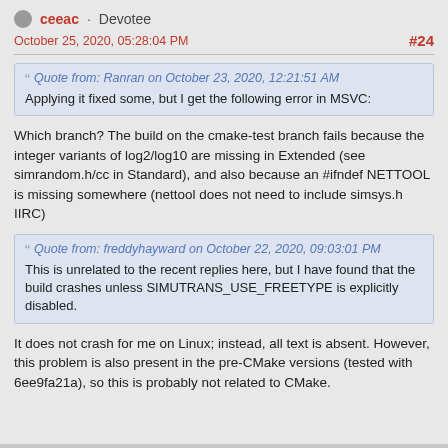ceeac · Devotee
October 25, 2020, 05:28:04 PM  #24
Quote from: Ranran on October 23, 2020, 12:21:51 AM
Applying it fixed some, but I get the following error in MSVC:
Which branch? The build on the cmake-test branch fails because the integer variants of log2/log10 are missing in Extended (see simrandom.h/cc in Standard), and also because an #ifndef NETTOOL is missing somewhere (nettool does not need to include simsys.h IIRC)
Quote from: freddyhayward on October 22, 2020, 09:03:01 PM
This is unrelated to the recent replies here, but I have found that the build crashes unless SIMUTRANS_USE_FREETYPE is explicitly disabled.
It does not crash for me on Linux; instead, all text is absent. However, this problem is also present in the pre-CMake versions (tested with 6ee9fa21a), so this is probably not related to CMake.